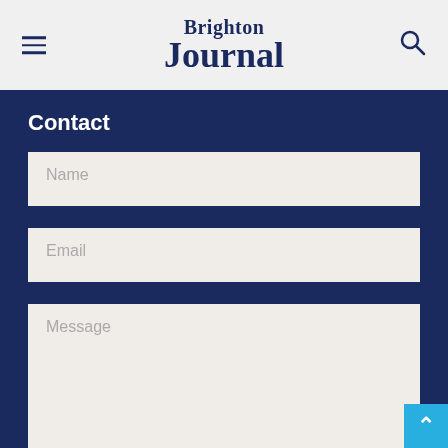Brighton Journal
Contact
Name
Email
Message